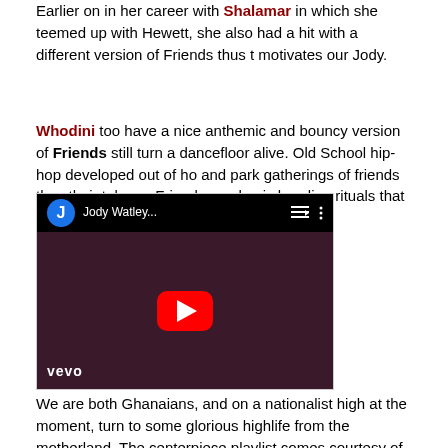Earlier on in her career with Shalamar in which she teemed up with Hewett, she also had a hit with a different version of Friends thus the motivates our Jody.
Whodini too have a nice anthemic and bouncy version of Friends still turn a dancefloor alive. Old School hip-hop developed out of ho and park gatherings of friends thus their take on Friends emphasiz bonding rituals that prevail.
[Figure (screenshot): YouTube video thumbnail showing Jody Watley music video with vevo branding, red play button in center, user avatar with letter J in blue circle]
We are both Ghanaians, and on a nationalist high at the moment, turn to some glorious highlife from the motherland. The centerpiece playlist comes courtesy of the Beach Scorpions wonderful Friends Enemies Tomorrow. At almost ten minutes, this song is the definit